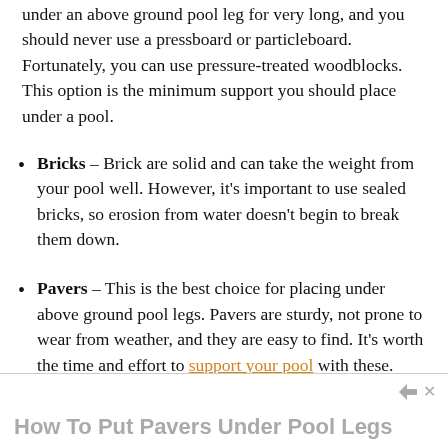under an above ground pool leg for very long, and you should never use a pressboard or particleboard. Fortunately, you can use pressure-treated woodblocks. This option is the minimum support you should place under a pool.
Bricks – Brick are solid and can take the weight from your pool well. However, it's important to use sealed bricks, so erosion from water doesn't begin to break them down.
Pavers – This is the best choice for placing under above ground pool legs. Pavers are sturdy, not prone to wear from weather, and they are easy to find. It's worth the time and effort to support your pool with these.
How To Put Pavers Under Pool Legs